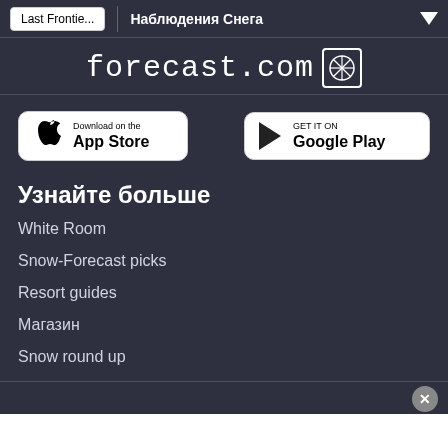Last Frontie... | Наблюдения Снега
[Figure (logo): forecast.com logo with snowflake icon]
[Figure (infographic): App Store and Google Play download buttons]
Узнайте больше
White Room
Snow-Forecast picks
Resort guides
Магазин
Snow round up